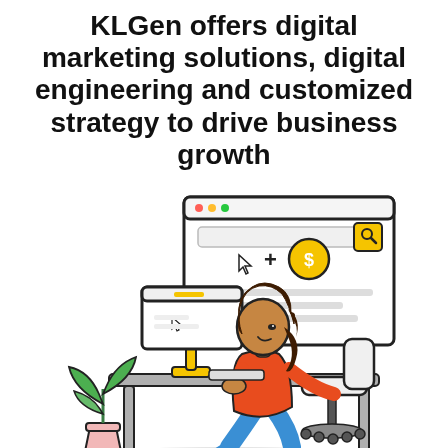KLGen offers digital marketing solutions, digital engineering and customized strategy to drive business growth
[Figure (illustration): Illustration of a woman with curly brown hair, wearing an orange top and blue pants, sitting at a desk working on a yellow-standoff desktop computer monitor. A large browser/search screen with a cursor, plus sign, and coin icon floats behind/above. A green potted plant sits on the floor to the left of the desk. The desk is gray. The woman sits on a white office chair.]